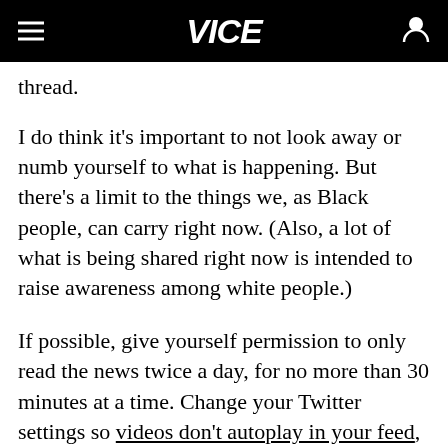VICE
thread.
I do think it's important to not look away or numb yourself to what is happening. But there's a limit to the things we, as Black people, can carry right now. (Also, a lot of what is being shared right now is intended to raise awareness among white people.)
If possible, give yourself permission to only read the news twice a day, for no more than 30 minutes at a time. Change your Twitter settings so videos don't autoplay in your feed, and consider deleting the app from your phone so